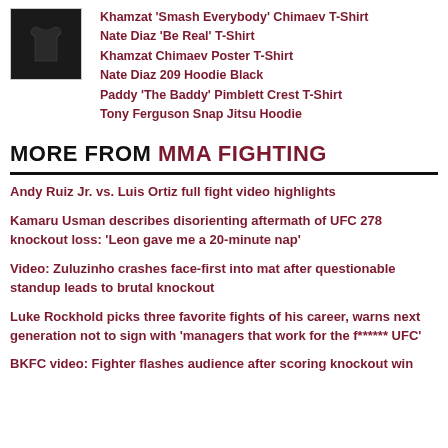[Figure (photo): Black T-shirt product image on dark background]
Khamzat 'Smash Everybody' Chimaev T-Shirt
Nate Diaz 'Be Real' T-Shirt
Khamzat Chimaev Poster T-Shirt
Nate Diaz 209 Hoodie Black
Paddy 'The Baddy' Pimblett Crest T-Shirt
Tony Ferguson Snap Jitsu Hoodie
MORE FROM MMA FIGHTING
Andy Ruiz Jr. vs. Luis Ortiz full fight video highlights
Kamaru Usman describes disorienting aftermath of UFC 278 knockout loss: 'Leon gave me a 20-minute nap'
Video: Zuluzinho crashes face-first into mat after questionable standup leads to brutal knockout
Luke Rockhold picks three favorite fights of his career, warns next generation not to sign with 'managers that work for the f****** UFC'
BKFC video: Fighter flashes audience after scoring knockout win